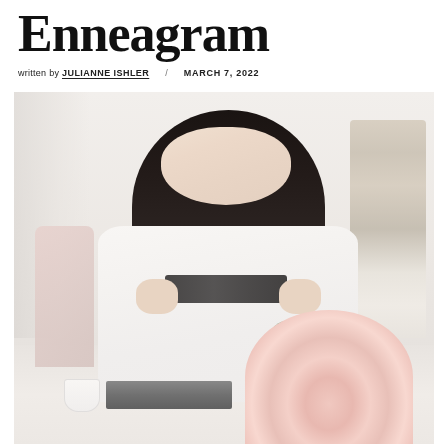Enneagram
written by JULIANNE ISHLER / MARCH 7, 2022
[Figure (photo): A young Asian woman with long dark hair sits at a white desk, holding glasses in both hands and looking upward pensively. She wears a white blouse. On the desk are a laptop, a white coffee cup and saucer, and a bouquet of pink flowers. In the background is a vase with pampas grass and a pink chair.]